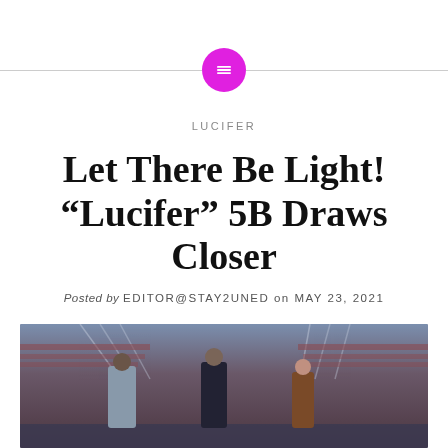[Figure (logo): Magenta circular logo with menu/list icon, flanked by horizontal gray lines]
LUCIFER
Let There Be Light! “Lucifer” 5B Draws Closer
Posted by EDITOR@STAY2UNED on MAY 23, 2021
[Figure (photo): Three people standing in a stadium. A tall man in a grey jacket on the left, a man in a dark suit in the center, and a woman in a brown coat on the right. Stadium seating visible in the background with blue-purple lighting.]